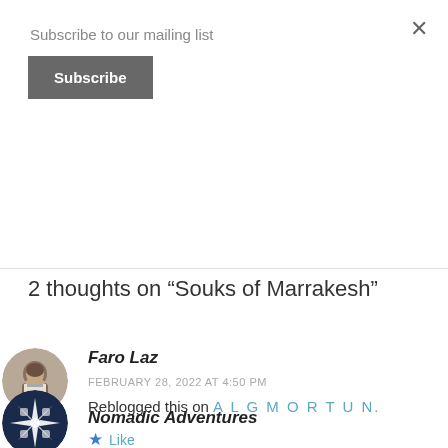Subscribe to our mailing list
Subscribe
2 thoughts on “Souks of Marrakesh”
[Figure (photo): Round avatar showing a person in historical clothing]
Faro Laz
FEBRUARY 28, 2022 AT 4:50 PM
Reblogged this on AL G M O R T U N.
Like
[Figure (logo): Round avatar with dark blue geometric/snowflake pattern on dark background]
Nomadic Adventures